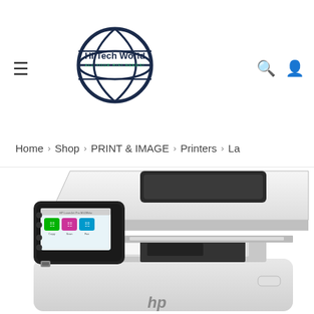[Figure (logo): Hi Tech World globe logo with navigation hamburger icon, search and user icons]
Home > Shop > PRINT & IMAGE > Printers > La
[Figure (photo): HP LaserJet Pro MFP printer in white and dark grey, showing control panel with touchscreen displaying colorful icons, document feeder on top, and paper tray]